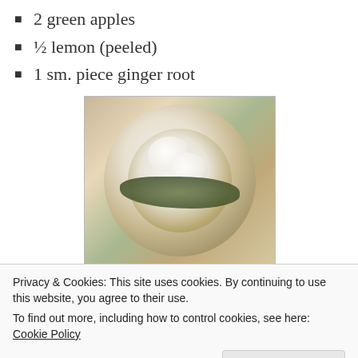2 green apples
½ lemon (peeled)
1 sm. piece ginger root
[Figure (photo): A plate of butternut squash and kale hash with poached eggs on top, served in a white bowl on a wooden surface.]
Butternut Squash and Kale Hash – This is soooo good!
(make without eggs for vegan version)
Privacy & Cookies: This site uses cookies. By continuing to use this website, you agree to their use.
To find out more, including how to control cookies, see here: Cookie Policy
[Figure (photo): Partial view of another food dish at the bottom of the page.]